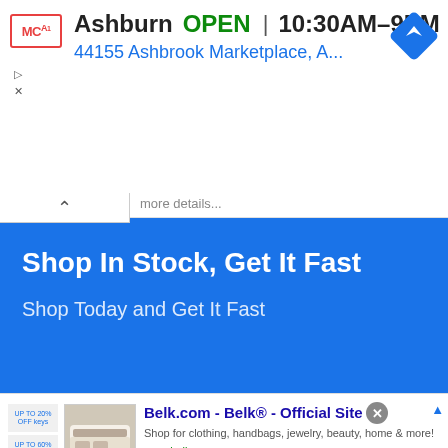[Figure (screenshot): Mobile Google Maps ad banner showing McDonald's location in Ashburn, with text 'Ashburn OPEN 10:30AM-9PM' and address '44155 Ashbrook Marketplace, A...' with navigation arrow icon and MCA logo]
[Figure (screenshot): Blue banner advertisement with white text 'Shop In Stock, Get It Fast' and subtext 'Shop Today and Get It Fast']
[Figure (map): Google Maps view showing McNair area with roads including Coppermine Rd, Sunrise Valley Dr, routes 267 and 657, with a green location pin and a red location pin marking a store location]
[Figure (screenshot): Belk.com advertisement banner with logo, images of bedding, text 'Belk.com - Belk® - Official Site', 'Shop for clothing, handbags, jewelry, beauty, home & more!' and 'www.belk.com', with a blue circular next button]